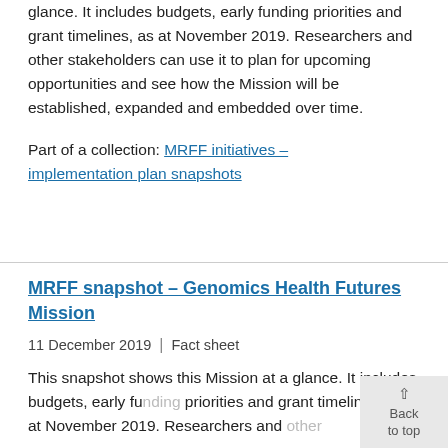glance. It includes budgets, early funding priorities and grant timelines, as at November 2019. Researchers and other stakeholders can use it to plan for upcoming opportunities and see how the Mission will be established, expanded and embedded over time.
Part of a collection: MRFF initiatives – implementation plan snapshots
MRFF snapshot – Genomics Health Futures Mission
11 December 2019 | Fact sheet
This snapshot shows this Mission at a glance. It includes budgets, early funding priorities and grant timelines, as at November 2019. Researchers and other